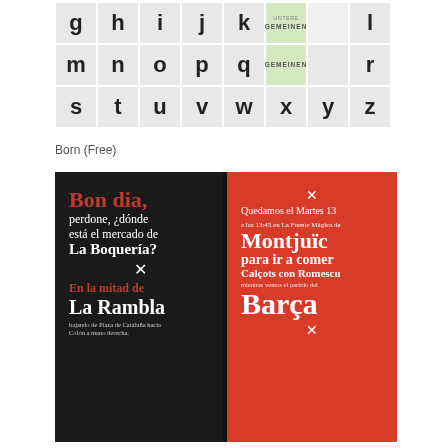[Figure (illustration): Alphabet grid showing lowercase letters g through z arranged in three rows with highlighted cells. A cell labeled 'GEMEINEN' appears highlighted in light green.]
Born (Free)
[Figure (photo): Book spread showing two typographic pages. Left page has black background with text in Spanish: 'Bon dia, perdone, ¿dónde está el mercado de La Boquería?' and 'En la mitad de La Rambla bajando de Plaza de Cataluña hacia Colón a mano derecha.' Right page has red background with text: 'Quedamos el Martes 13 a las 13:45 en La Fuente Mágica de Montjuïc para ir a comer Calçots con Romescu mientras vemos el partido del Barça' with decorative cross symbols.]